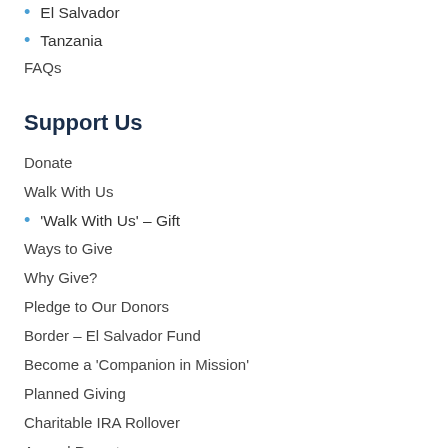El Salvador
Tanzania
FAQs
Support Us
Donate
Walk With Us
'Walk With Us' – Gift
Ways to Give
Why Give?
Pledge to Our Donors
Border – El Salvador Fund
Become a 'Companion in Mission'
Planned Giving
Charitable IRA Rollover
Annual Report